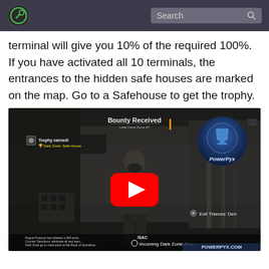Search
terminal will give you 10% of the required 100%. If you have activated all 10 terminals, the entrances to the hidden safe houses are marked on the map. Go to a Safehouse to get the trophy.
[Figure (screenshot): YouTube video thumbnail showing a gameplay screenshot from The Division with a trophy earned notification 'Dark Zone: Safe House', Bounty Received text, a player character in tactical gear, PowerPyx logo with trophy icon, and 'Incoming Dark Zone drop' text at bottom. A red YouTube play button is overlaid in the center.]